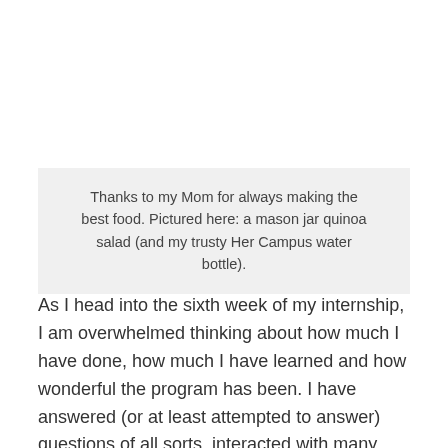Thanks to my Mom for always making the best food. Pictured here: a mason jar quinoa salad (and my trusty Her Campus water bottle).
As I head into the sixth week of my internship, I am overwhelmed thinking about how much I have done, how much I have learned and how wonderful the program has been. I have answered (or at least attempted to answer) questions of all sorts, interacted with many different people and have gotten to know